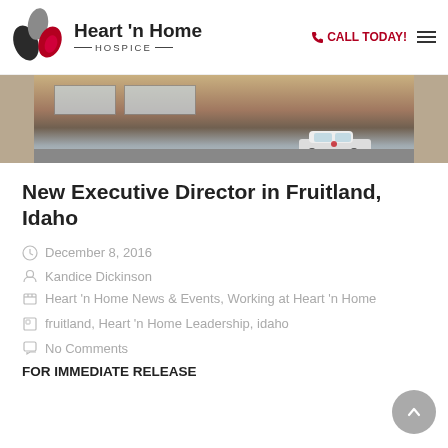Heart 'n Home HOSPICE — CALL TODAY!
[Figure (photo): Exterior photo of a building with cars parked outside, including a white car with a logo.]
New Executive Director in Fruitland, Idaho
December 8, 2016
Kandice Dickinson
Heart 'n Home News & Events, Working at Heart 'n Home
fruitland, Heart 'n Home Leadership, idaho
No Comments
FOR IMMEDIATE RELEASE